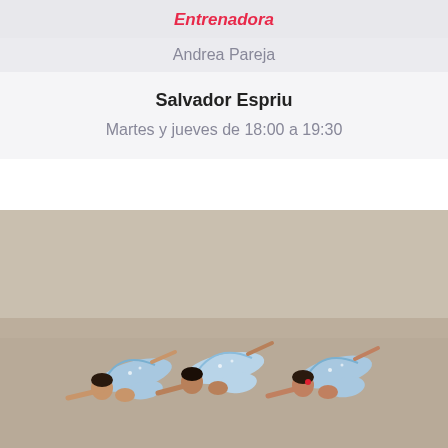Entrenadora
Andrea Pareja
Salvador Espriu
Martes y jueves de 18:00 a 19:30
[Figure (photo): Three young rhythmic gymnasts in light blue leotards performing a synchronized back-bend pose on a beige competition floor]